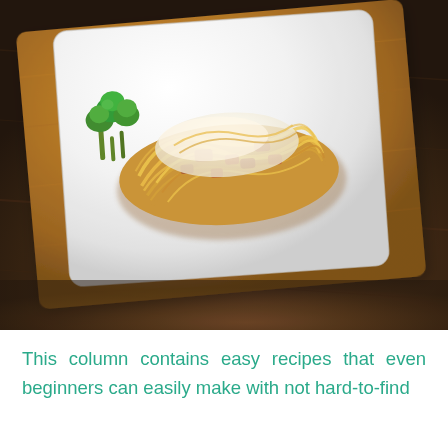[Figure (photo): Overhead photo of a white rectangular plate with a mound of spaghetti carbonara topped with grated cheese, with broccoli on the side, placed on a wooden cutting board on a dark wooden table.]
This column contains easy recipes that even beginners can easily make with not hard-to-find